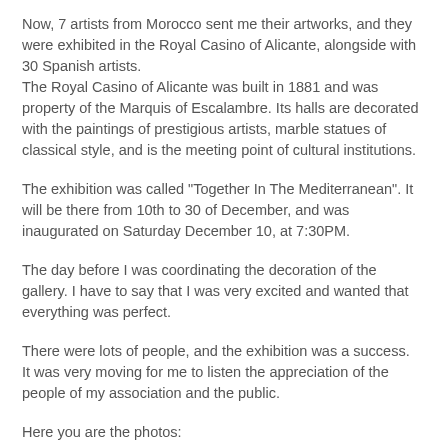Now, 7 artists from Morocco sent me their artworks, and they were exhibited in the Royal Casino of Alicante, alongside with 30 Spanish artists. The Royal Casino of Alicante was built in 1881 and was property of the Marquis of Escalambre. Its halls are decorated with the paintings of prestigious artists, marble statues of classical style, and is the meeting point of cultural institutions.
The exhibition was called "Together In The Mediterranean". It will be there from 10th to 30 of December, and was inaugurated on Saturday December 10, at 7:30PM.
The day before I was coordinating the decoration of the gallery. I have to say that I was very excited and wanted that everything was perfect.
There were lots of people, and the exhibition was a success. It was very moving for me to listen the appreciation of the people of my association and the public.
Here you are the photos: